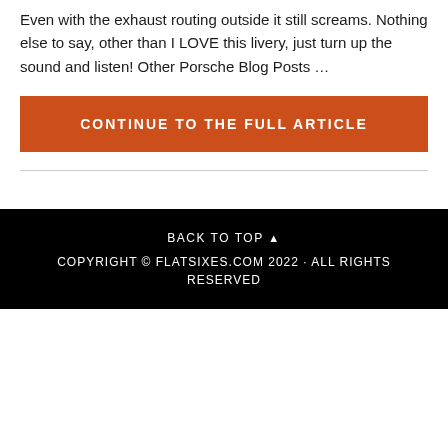Even with the exhaust routing outside it still screams. Nothing else to say, other than I LOVE this livery, just turn up the sound and listen! Other Porsche Blog Posts …
CONTINUE TO THE FULL ARTICLE
BACK TO TOP ▲
COPYRIGHT © FLATSIXES.COM 2022 · ALL RIGHTS RESERVED